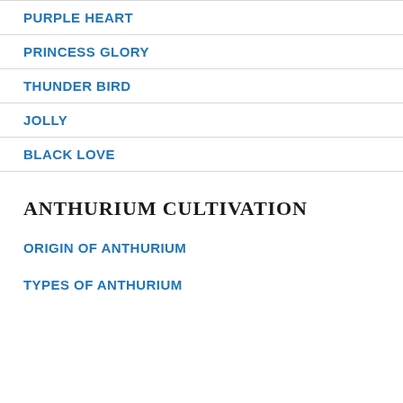PURPLE HEART
PRINCESS GLORY
THUNDER BIRD
JOLLY
BLACK LOVE
ANTHURIUM CULTIVATION
ORIGIN OF ANTHURIUM
TYPES OF ANTHURIUM